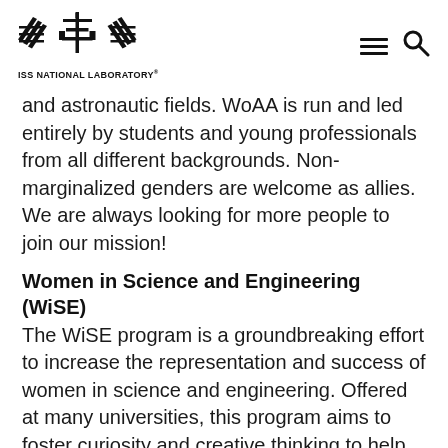ISS NATIONAL LABORATORY
and astronautic fields. WoAA is run and led entirely by students and young professionals from all different backgrounds. Non-marginalized genders are welcome as allies. We are always looking for more people to join our mission!
Women in Science and Engineering (WiSE)
The WiSE program is a groundbreaking effort to increase the representation and success of women in science and engineering. Offered at many universities, this program aims to foster curiosity and creative thinking to help students discover their passion while connecting it to a